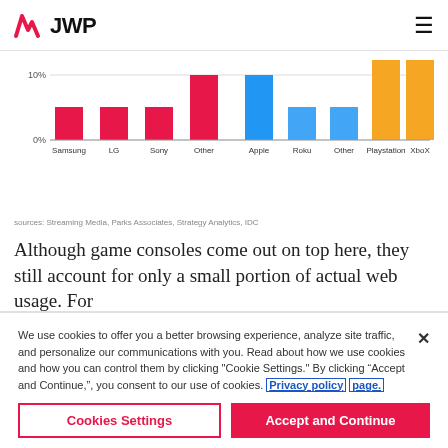[Figure (logo): JWP logo with stylized W mark in red/pink on left, bold JWP text]
[Figure (bar-chart): Device share by category]
sources: Streaming Media, Parks Associates, Strategy Analytics, IDC
Although game consoles come out on top here, they still account for only a small portion of actual web usage. For
We use cookies to offer you a better browsing experience, analyze site traffic, and personalize our communications with you. Read about how we use cookies and how you can control them by clicking "Cookie Settings." By clicking “Accept and Continue,”, you consent to our use of cookies. Privacy policy page.
Cookies Settings
Accept and Continue